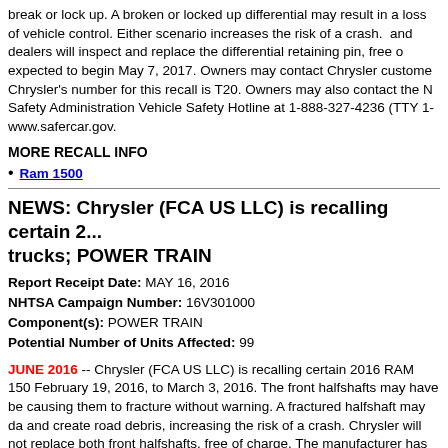break or lock up. A broken or locked up differential may result in a loss of vehicle control. Either scenario increases the risk of a crash. Chrysler and dealers will inspect and replace the differential retaining pin, free of charge. Remedy is expected to begin May 7, 2017. Owners may contact Chrysler customer service. Chrysler's number for this recall is T20. Owners may also contact the National Highway Traffic Safety Administration Vehicle Safety Hotline at 1-888-327-4236 (TTY 1-800-424-9153), or go to www.safercar.gov.
MORE RECALL INFO
Ram 1500
NEWS: Chrysler (FCA US LLC) is recalling certain 2... trucks; POWER TRAIN
Report Receipt Date: MAY 16, 2016
NHTSA Campaign Number: 16V301000
Component(s): POWER TRAIN
Potential Number of Units Affected: 99
JUNE 2016 -- Chrysler (FCA US LLC) is recalling certain 2016 RAM 150... February 19, 2016, to March 3, 2016. The front halfshafts may have be... causing them to fracture without warning. A fractured halfshaft may da... and create road debris, increasing the risk of a crash. Chrysler will not... replace both front halfshafts, free of charge. The manufacturer has not... schedule. Chrysler's number for this recall is S32. Owners may also co... Traffic Safety Administration Vehicle Safety Hotline at 1-888-327-4236 ... to www.safercar.gov